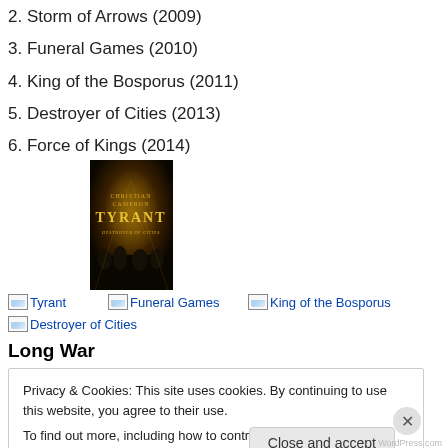2. Storm of Arrows (2009)
3. Funeral Games (2010)
4. King of the Bosporus (2011)
5. Destroyer of Cities (2013)
6. Force of Kings (2014)
[Figure (photo): Book cover for Tyrant by Christian Cameron]
[Figure (illustration): Image link: Tyrant]
[Figure (illustration): Image link: Funeral Games]
[Figure (illustration): Image link: King of the Bosporus]
[Figure (illustration): Image link: Destroyer of Cities]
Long War
Privacy & Cookies: This site uses cookies. By continuing to use this website, you agree to their use.
To find out more, including how to control cookies, see here: Cookie Policy